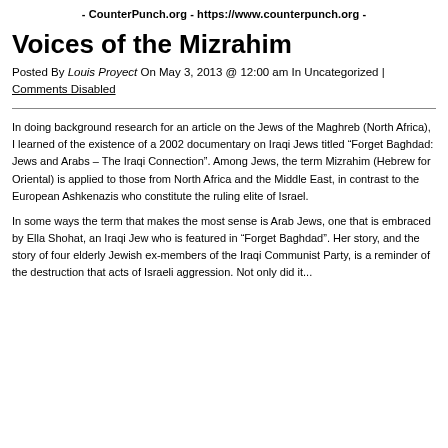- CounterPunch.org - https://www.counterpunch.org -
Voices of the Mizrahim
Posted By Louis Proyect On May 3, 2013 @ 12:00 am In Uncategorized | Comments Disabled
In doing background research for an article on the Jews of the Maghreb (North Africa), I learned of the existence of a 2002 documentary on Iraqi Jews titled “Forget Baghdad: Jews and Arabs – The Iraqi Connection”. Among Jews, the term Mizrahim (Hebrew for Oriental) is applied to those from North Africa and the Middle East, in contrast to the European Ashkenazis who constitute the ruling elite of Israel.
In some ways the term that makes the most sense is Arab Jews, one that is embraced by Ella Shohat, an Iraqi Jew who is featured in “Forget Baghdad”. Her story, and the story of four elderly Jewish ex-members of the Iraqi Communist Party, is a reminder of the destruction that acts of Israeli aggression. Not only did it...